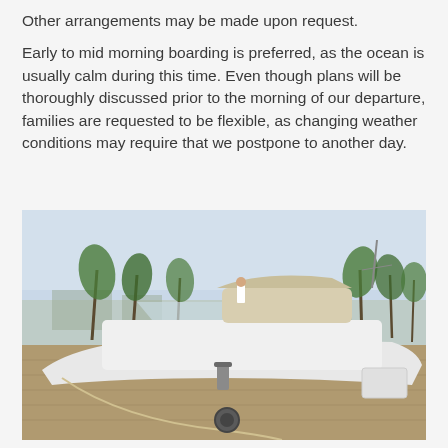Other arrangements may be made upon request.
Early to mid morning boarding is preferred, as the ocean is usually calm during this time. Even though plans will be thoroughly discussed prior to the morning of our departure, families are requested to be flexible, as changing weather conditions may require that we postpone to another day.
[Figure (photo): A large white luxury yacht docked at a marina. A person in white clothing stands on the upper deck. Palm trees and a clear sky are visible in the background. The dock is in the foreground.]